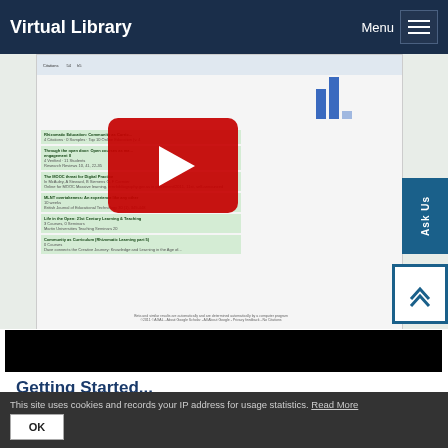Virtual Library
[Figure (screenshot): Screenshot of a Google Scholar citations profile page with a YouTube video overlay showing a play button on a red background]
[Figure (screenshot): Black video player bar at the bottom of the embedded video area]
Getting Started...
You can sign up for a Google Scholar Citations profile through your Google account (if you do not have one, you will need to create an
This site uses cookies and records your IP address for usage statistics. Read More